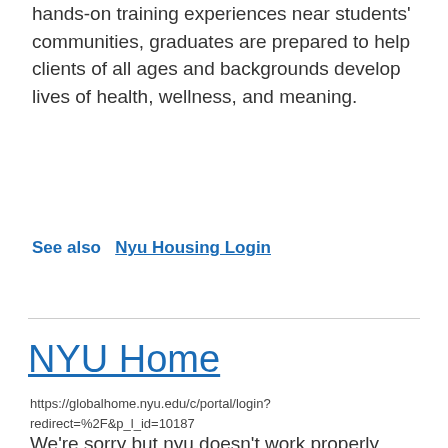hands-on training experiences near students' communities, graduates are prepared to help clients of all ages and backgrounds develop lives of health, wellness, and meaning.
See also  Nyu Housing Login
NYU Home
https://globalhome.nyu.edu/c/portal/login?redirect=%2F&p_l_id=10187
We're sorry but nyu doesn't work properly without JavaScript enabled. Please enable it